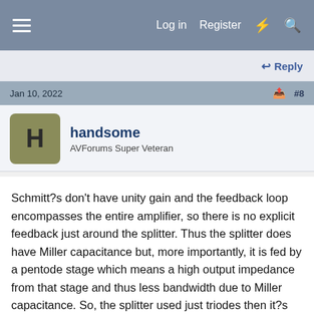Log in   Register
Reply
Jan 10, 2022   #8
handsome
AVForums Super Veteran
Schmitt?s don't have unity gain and the feedback loop encompasses the entire amplifier, so there is no explicit feedback just around the splitter. Thus the splitter does have Miller capacitance but, more importantly, it is fed by a pentode stage which means a high output impedance from that stage and thus less bandwidth due to Miller capacitance. So, the splitter used just triodes then it?s input probably would be the dominant pole since the output stage would be either pure pentode or ultra-linear (less Miller capacitance). So reducing the Miller effect of the splitter would give you more bandwidth